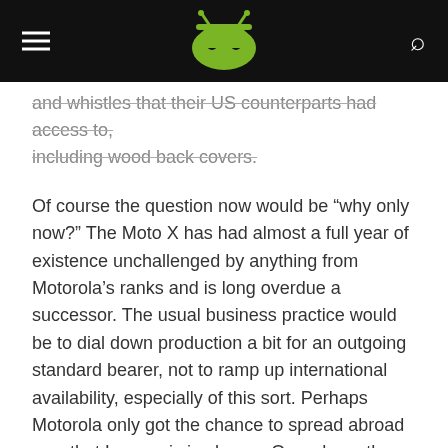[Android Authority logo header with hamburger menu and search icon]
and whistles that their US counterparts had access to, including wood back covers.
Of course the question now would be “why only now?” The Moto X has had almost a full year of existence unchallenged by anything from Motorola’s ranks and is long overdue a successor. The usual business practice would be to dial down production a bit for an outgoing standard bearer, not to ramp up international availability, especially of this sort. Perhaps Motorola only got the chance to spread abroad now that Lenovo is in charge. Or perhaps the Moto X is due for a longer term than we expected.
There is also another possibility. Motorola and Lenovo might be testing the waters and flexing their muscles in